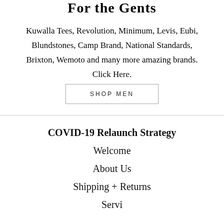For the Gents
Kuwalla Tees, Revolution, Minimum, Levis, Eubi, Blundstones, Camp Brand, National Standards, Brixton, Wemoto and many more amazing brands. Click Here.
SHOP MEN
COVID-19 Relaunch Strategy
Welcome
About Us
Shipping + Returns
Services